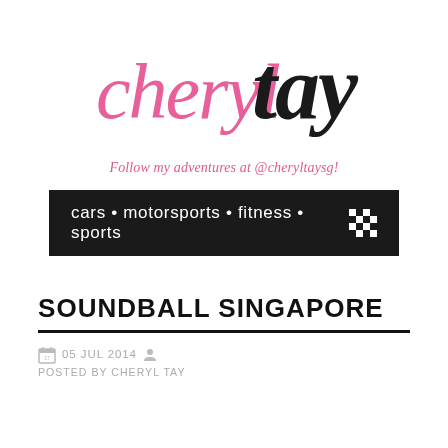[Figure (logo): Cheryl Tay blog logo — 'cheryl' in pink script font and 'tay' in black handwritten script font]
Follow my adventures at @cheryltaysg!
[Figure (illustration): Black banner with white text: cars • motorsports • fitness • sports, with a checkered flag pattern on the right side]
SOUNDBALL SINGAPORE
05 JUL 2014  POSTED BY CHERYL TAY